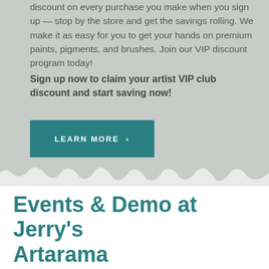discount on every purchase you make when you sign up — stop by the store and get the savings rolling. We make it as easy for you to get your hands on premium paints, pigments, and brushes. Join our VIP discount program today!
Sign up now to claim your artist VIP club discount and start saving now!
LEARN MORE ›
Events & Demo at Jerry's Artarama
LEARN A NEW SKILL & SAMPLE NEW SUPPLIES